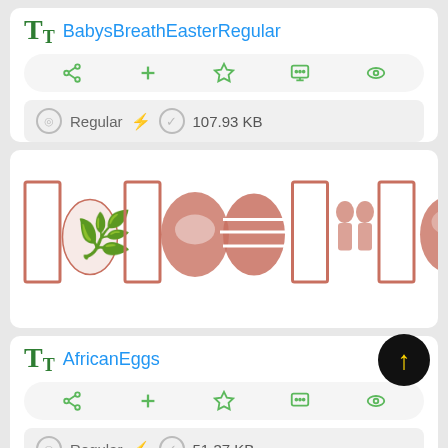BabysBreathEasterRegular
[Figure (screenshot): Action icon row with share, plus, star, comment, eye icons in green on rounded pill background]
Regular  107.93 KB
[Figure (illustration): Font preview showing decorative Easter egg dingbat symbols in reddish-brown color]
AfricanEggs
[Figure (screenshot): Action icon row with share, plus, star, comment, eye icons in green on rounded pill background]
Regular  51.37 KB